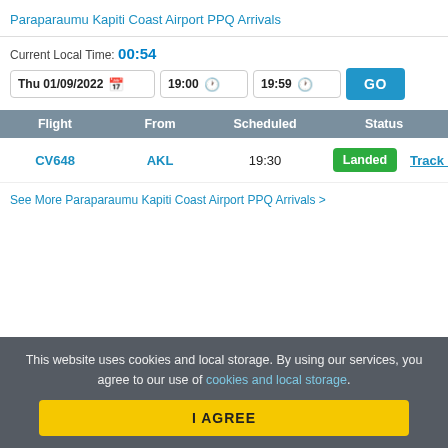Paraparaumu Kapiti Coast Airport PPQ Arrivals
Current Local Time: 00:54
Thu 01/09/2022  19:00  19:59  GO
| Flight | From | Scheduled | Status |
| --- | --- | --- | --- |
| CV648 | AKL | 19:30 | Landed  Track > |
See More Paraparaumu Kapiti Coast Airport PPQ Arrivals >
This website uses cookies and local storage. By using our services, you agree to our use of cookies and local storage.
I AGREE